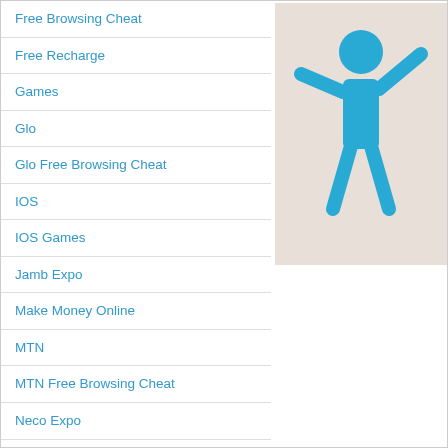Free Browsing Cheat
Free Recharge
Games
Glo
Glo Free Browsing Cheat
[Figure (illustration): Blue stick figure icon of a person with arms outstretched on a beige/tan background]
IOS
IOS Games
Jamb Expo
Make Money Online
MTN
MTN Free Browsing Cheat
Neco Expo
Others
PC
Phone Review